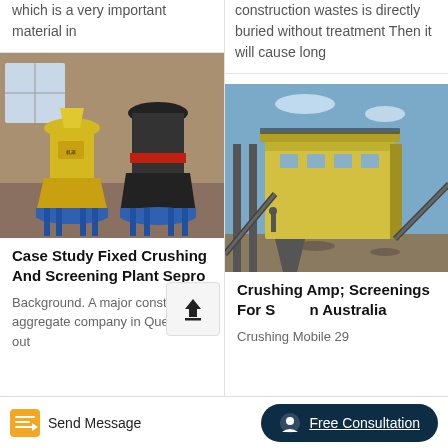which is a very important material in
construction wastes is directly buried without treatment Then it will cause long
[Figure (photo): Industrial grinding/crushing mill machines in a factory setting, yellow and black equipment on blue base]
Case Study Fixed Crushing And Screening Plant Sepro
Background. A major construction aggregate company in Quebec put out
[Figure (photo): Outdoor industrial crushing and screening plant with yellow structure, conveyors, and blue sky background]
Crushing Amp; Screenings For S n Australia
Crushing Mobile 29
Send Message   Free Consultation